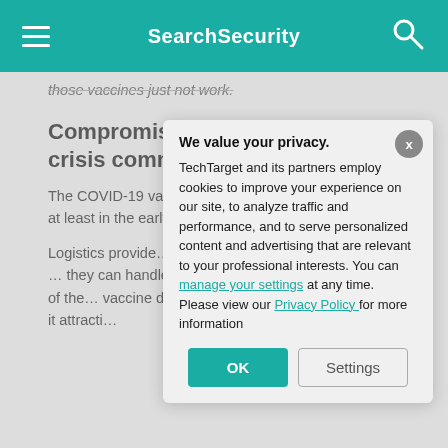SearchSecurity
those vaccines just not work.
Compromise assessment and crisis communication
The COVID-19 vaccine supply chain may be secure, at least in the early… Stephen Meyer,
Logistics provide… delivery heavyw… and FedEx, are … they can handle … securely, he said … and scope of the … vaccine distribut… anything before … makes it attracti…
We value your privacy.
TechTarget and its partners employ cookies to improve your experience on our site, to analyze traffic and performance, and to serve personalized content and advertising that are relevant to your professional interests. You can manage your settings at any time. Please view our Privacy Policy for more information